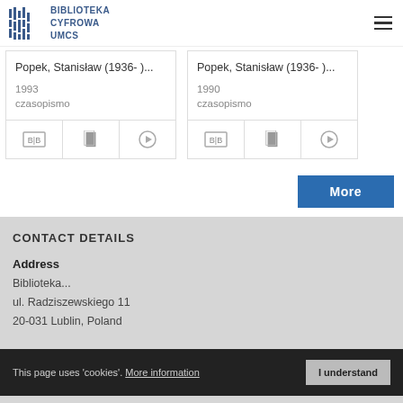[Figure (logo): Biblioteka Cyfrowa UMCS logo with vertical bar graphic and text]
Popek, Stanisław (1936- )...
1993
czasopismo
Popek, Stanisław (1936- )...
1990
czasopismo
More
CONTACT DETAILS
Address
Biblioteka...
ul. Radziszewskiego 11
20-031 Lublin, Poland
This page uses 'cookies'. More information  I understand